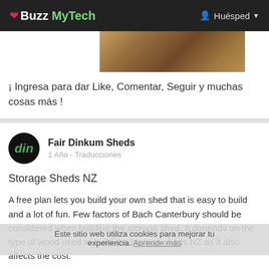❤ Buzz MyTech   Huésped ▼
[Figure (photo): Partial outdoor photo showing ground/dirt, partially cropped at top of card]
¡ Ingresa para dar Like, Comentar, Seguir y muchas cosas más !
Fair Dinkum Sheds
1 Año - Traducciones
Storage Sheds NZ
Este sitio web utiliza cookies para mejorar tu experiencia. Aprende más
A free plan lets you build your own shed that is easy to build and a lot of fun. Few factors of Bach Canterbury should be considered when building the storage shed. It depends on the type of wood used to build the storage sheds NZ as it also affects the cost.
The advantage of this construction is that the finished shed is mobile, i.e. the shed has no foundation or foundation as it is
Lee mas..